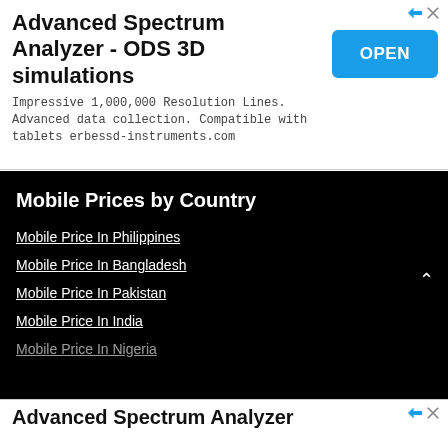[Figure (other): Advertisement banner for Advanced Spectrum Analyzer - ODS 3D simulations with an OPEN button]
Mobile Prices by Country
Mobile Price In Philippines
Mobile Price In Bangladesh
Mobile Price In Pakistan
Mobile Price In India
Mobile Price In Nigeria
[Figure (other): Partial advertisement banner at bottom for Advanced Spectrum Analyzer]